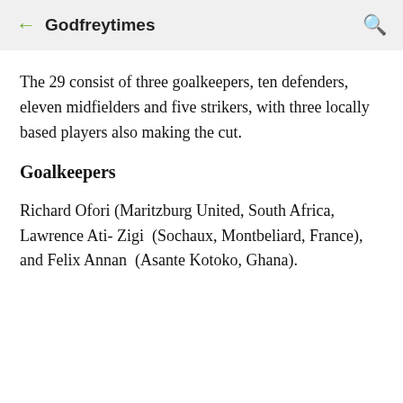← Godfreytimes 🔍
The 29 consist of three goalkeepers, ten defenders, eleven midfielders and five strikers, with three locally based players also making the cut.
Goalkeepers
Richard Ofori (Maritzburg United, South Africa, Lawrence Ati- Zigi  (Sochaux, Montbeliard, France), and Felix Annan  (Asante Kotoko, Ghana).